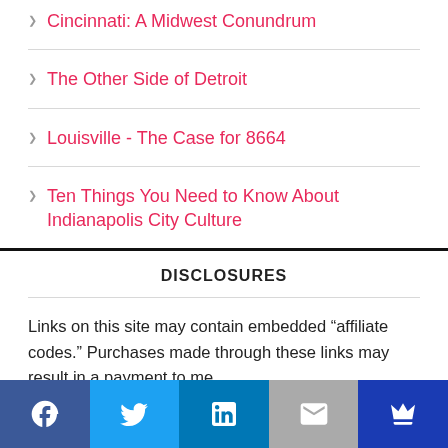Cincinnati: A Midwest Conundrum
The Other Side of Detroit
Louisville - The Case for 8664
Ten Things You Need to Know About Indianapolis City Culture
DISCLOSURES
Links on this site may contain embedded “affiliate codes.” Purchases made through these links may result in a payment to me.